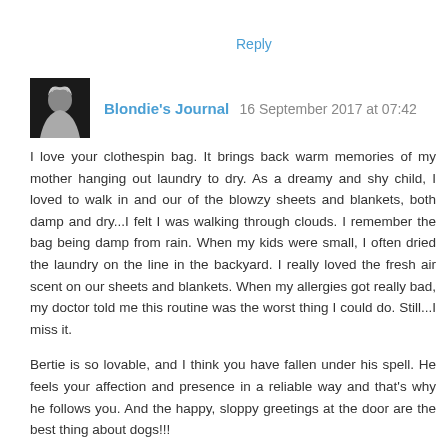Reply
Blondie's Journal  16 September 2017 at 07:42
I love your clothespin bag. It brings back warm memories of my mother hanging out laundry to dry. As a dreamy and shy child, I loved to walk in and our of the blowzy sheets and blankets, both damp and dry...I felt I was walking through clouds. I remember the bag being damp from rain. When my kids were small, I often dried the laundry on the line in the backyard. I really loved the fresh air scent on our sheets and blankets. When my allergies got really bad, my doctor told me this routine was the worst thing I could do. Still...I miss it.
Bertie is so lovable, and I think you have fallen under his spell. He feels your affection and presence in a reliable way and that's why he follows you. And the happy, sloppy greetings at the door are the best thing about dogs!!!
Oh, the curry pigeons...I thought you were joking or it was a "British thing", until I looked at the link. Ha! Poor birds.